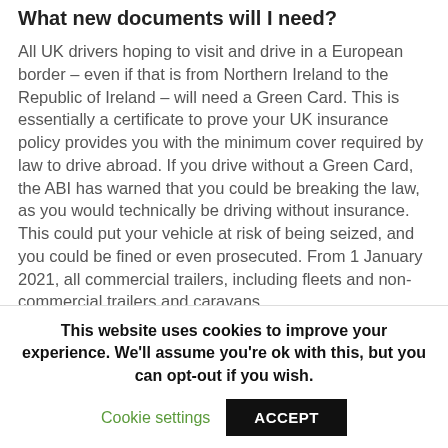What new documents will I need?
All UK drivers hoping to visit and drive in a European border – even if that is from Northern Ireland to the Republic of Ireland – will need a Green Card. This is essentially a certificate to prove your UK insurance policy provides you with the minimum cover required by law to drive abroad. If you drive without a Green Card, the ABI has warned that you could be breaking the law, as you would technically be driving without insurance. This could put your vehicle at risk of being seized, and you could be fined or even prosecuted. From 1 January 2021, all commercial trailers, including fleets and non-commercial trailers and caravans
This website uses cookies to improve your experience. We'll assume you're ok with this, but you can opt-out if you wish.
Cookie settings | ACCEPT